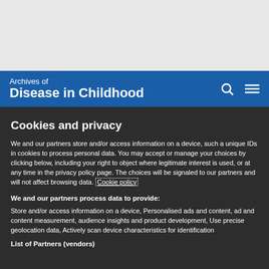Archives of Disease in Childhood
Cookies and privacy
We and our partners store and/or access information on a device, such a unique IDs in cookies to process personal data. You may accept or manage your choices by clicking below, including your right to object where legitimate interest is used, or at any time in the privacy policy page. These choices will be signaled to our partners and will not affect browsing data. Cookie policy
We and our partners process data to provide:
Store and/or access information on a device, Personalised ads and content, ad and content measurement, audience insights and product development, Use precise geolocation data, Actively scan device characteristics for identification
List of Partners (vendors)